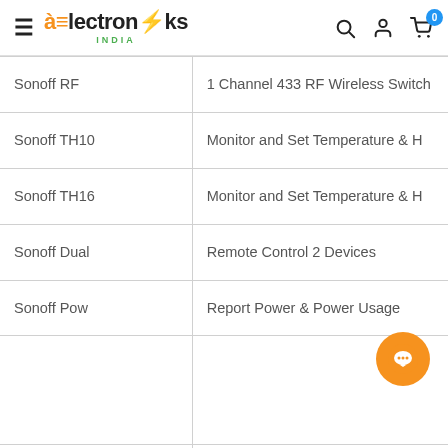Electroniks India — navigation header with search, user, and cart icons
| Product | Description |
| --- | --- |
| Sonoff RF | 1 Channel 433 RF Wireless Switch |
| Sonoff TH10 | Monitor and Set Temperature & H |
| Sonoff TH16 | Monitor and Set Temperature & H |
| Sonoff Dual | Remote Control 2 Devices |
| Sonoff Pow | Report Power & Power Usage |
|  |  |
| Sonoff 4CH | 4 Gang WiFi Wireless Switch |